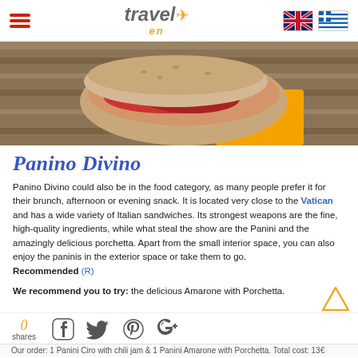travel en
[Figure (photo): Close-up photo of Italian panini sandwich on a wooden board with orange napkin]
Panino Divino
Panino Divino could also be in the food category, as many people prefer it for their brunch, afternoon or evening snack. It is located very close to the Vatican and has a wide variety of Italian sandwiches. Its strongest weapons are the fine, high-quality ingredients, while what steal the show are the Panini and the amazingly delicious porchetta. Apart from the small interior space, you can also enjoy the paninis in the exterior space or take them to go. Recommended (R)
We recommend you to try: the delicious Amarone with Porchetta.
Our order: 1 Panini Ciro with chili jam & 1 Panini Amarone with Porchetta. Total cost: 13€